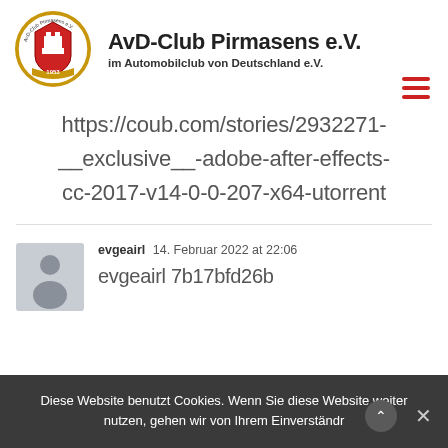[Figure (logo): AvD-Club Pirmasens circular logo with crest and '1953' ribbon, gold and red colors]
AvD-Club Pirmasens e.V.
im Automobilclub von Deutschland e.V.
https://coub.com/stories/2932271-__exclusive__-adobe-after-effects-cc-2017-v14-0-0-207-x64-utorrent
evgeairl  14. Februar 2022 at 22:06
evgeairl 7b17bfd26b
Diese Website benutzt Cookies. Wenn Sie diese Website weiter nutzen, gehen wir von Ihrem Einverständr